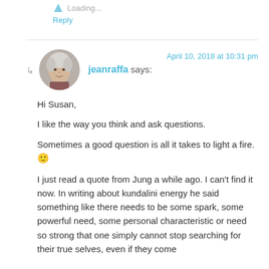Loading...
Reply
jeanraffa says:
April 10, 2018 at 10:31 pm
[Figure (photo): Round avatar photo of an older woman with white/grey hair]
Hi Susan,

I like the way you think and ask questions.

Sometimes a good question is all it takes to light a fire. 🙂

I just read a quote from Jung a while ago. I can't find it now. In writing about kundalini energy he said something like there needs to be some spark, some powerful need, some personal characteristic or need so strong that one simply cannot stop searching for their true selves, even if they come